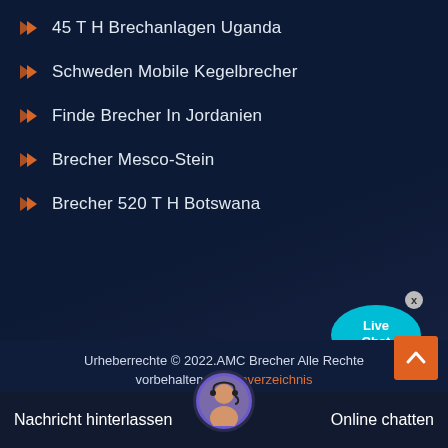45 T H Brechanlagen Uganda
Schweden Mobile Kegelbrecher
Finde Brecher In Jordanien
Brecher Mesco-Stein
Brecher 520 T H Botswana
[Figure (illustration): Live Chat speech bubble widget with cyan color, showing 'Live Chat' text and a close X button]
Urheberrechte © 2022.AMC Brecher Alle Rechte vorbehalten. Seitenverzeichnis
Nachricht hinterlassen   Online chatten